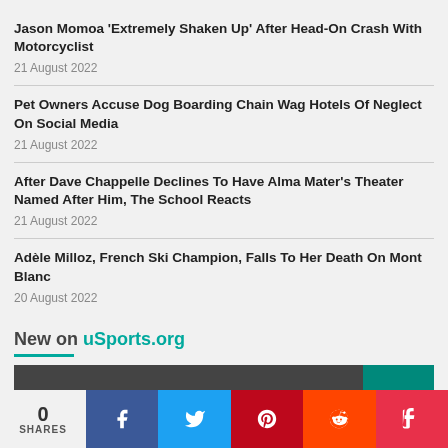Jason Momoa 'Extremely Shaken Up' After Head-On Crash With Motorcyclist
21 August 2022
Pet Owners Accuse Dog Boarding Chain Wag Hotels Of Neglect On Social Media
21 August 2022
After Dave Chappelle Declines To Have Alma Mater's Theater Named After Him, The School Reacts
21 August 2022
Adèle Milloz, French Ski Champion, Falls To Her Death On Mont Blanc
20 August 2022
New on uSports.org
[Figure (photo): Partial news image with teal button visible]
0 SHARES | Facebook | Twitter | Pinterest | Reddit | Flipboard